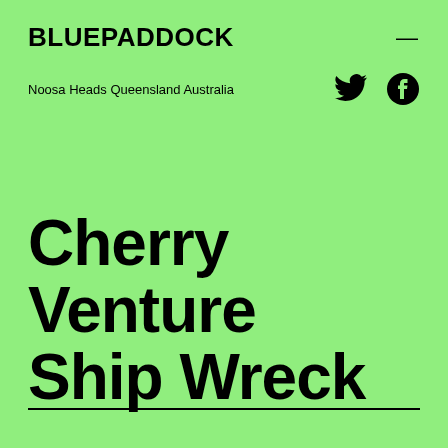BLUEPADDOCK
Noosa Heads Queensland Australia
Cherry Venture Ship Wreck